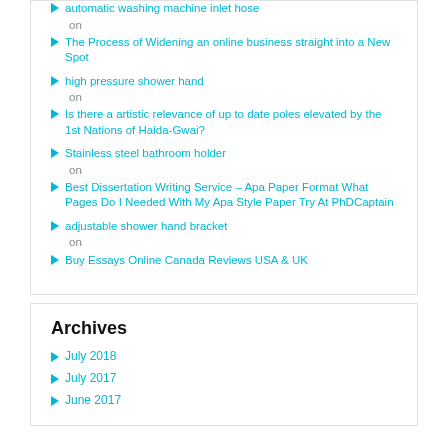automatic washing machine inlet hose
on
The Process of Widening an online business straight into a New Spot
high pressure shower hand
on
Is there a artistic relevance of up to date poles elevated by the 1st Nations of Haida-Gwai?
Stainless steel bathroom holder
on
Best Dissertation Writing Service – Apa Paper Format What Pages Do I Needed With My Apa Style Paper Try At PhDCaptain
adjustable shower hand bracket
on
Buy Essays Online Canada Reviews USA & UK
Archives
July 2018
July 2017
June 2017